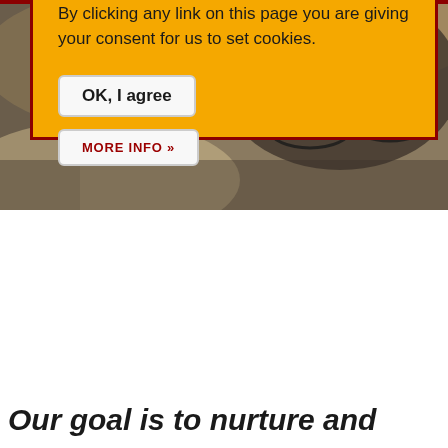[Figure (photo): Person with glasses looking down, close-up shot with warm/dark tones]
We use cookies on this site to enhance your user experience
By clicking any link on this page you are giving your consent for us to set cookies.
OK, I agree
MORE INFO »
Our goal is to nurture and